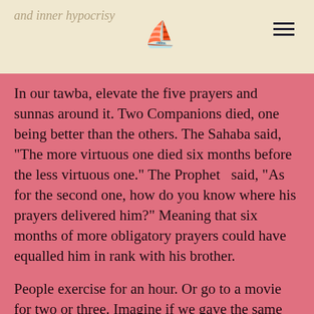and inner hypocrisy
In our tawba, elevate the five prayers and sunnas around it. Two Companions died, one being better than the others. The Sahaba said, "The more virtuous one died six months before the less virtuous one." The Prophet ﷺ said, "As for the second one, how do you know where his prayers delivered him?" Meaning that six months of more obligatory prayers could have equalled him in rank with his brother.
People exercise for an hour. Or go to a movie for two or three. Imagine if we gave the same time to dhikr and istighfar. Our hearts would be shining